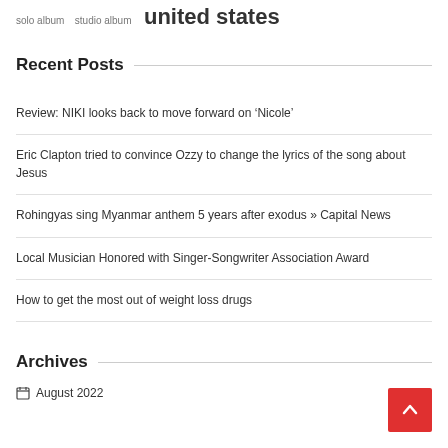solo album   studio album   united states
Recent Posts
Review: NIKI looks back to move forward on ‘Nicole’
Eric Clapton tried to convince Ozzy to change the lyrics of the song about Jesus
Rohingyas sing Myanmar anthem 5 years after exodus » Capital News
Local Musician Honored with Singer-Songwriter Association Award
How to get the most out of weight loss drugs
Archives
August 2022